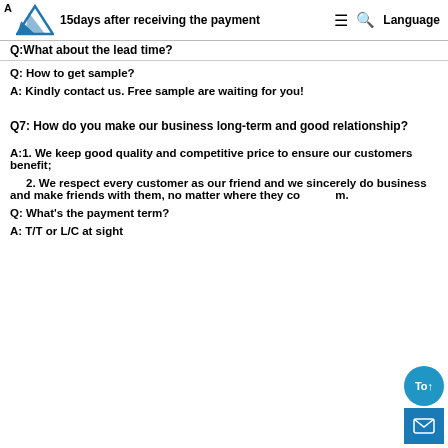Q:What about the lead time? / 15days after receiving the payment
Q: How to get sample?
A: Kindly contact us. Free sample are waiting for you!
Q7: How do you make our business long-term and good relationship?
A:1. We keep good quality and competitive price to ensure our customers benefit;
2. We respect every customer as our friend and we sincerely do business and make friends with them, no matter where they come from.
Q: What's the payment term?
A: T/T or L/C at sight